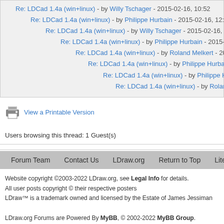Re: LDCad 1.4a (win+linux) - by Willy Tschager - 2015-02-16, 10:52
Re: LDCad 1.4a (win+linux) - by Philippe Hurbain - 2015-02-16, 12:43
Re: LDCad 1.4a (win+linux) - by Willy Tschager - 2015-02-16, 15:09
Re: LDCad 1.4a (win+linux) - by Philippe Hurbain - 2015-02-16, 15:22
Re: LDCad 1.4a (win+linux) - by Roland Melkert - 2015-02-16, 18:34
Re: LDCad 1.4a (win+linux) - by Philippe Hurbain - 2015-02-16, 18:...
Re: LDCad 1.4a (win+linux) - by Philippe Hurbain - 2015-02-17, ...
Re: LDCad 1.4a (win+linux) - by Roland Melkert - 2015-02-17, ...
View a Printable Version
Users browsing this thread: 1 Guest(s)
Forum Team   Contact Us   LDraw.org   Return to Top   Lite (Archive) Mode   R
Website copyright ©2003-2022 LDraw.org, see Legal Info for details.
All user posts copyright © their respective posters
LDraw™ is a trademark owned and licensed by the Estate of James Jessiman

LDraw.org Forums are Powered By MyBB, © 2002-2022 MyBB Group.
LDraw.org Forum template derived from MyBB Master Template by MyBB Group
LEGO® is a registered trademark of the LEGO Group, which does not sponsor, endorse, ...
LDraw is a completely unofficial, community run free CAD system which represents official...